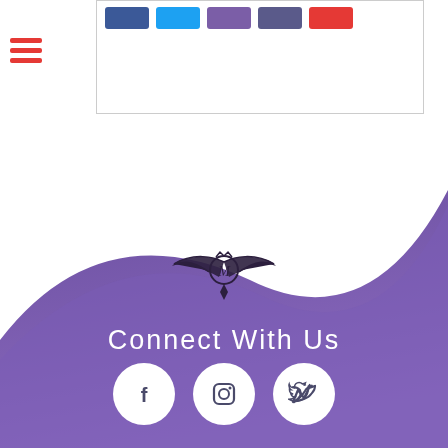[Figure (screenshot): Top navigation bar with social share buttons (Facebook, Twitter, purple, dark, red) inside a bordered white box]
[Figure (logo): Ornate winged crest logo with letter M in center circle on purple gradient background]
Connect With Us
[Figure (infographic): Three white circular social media icons: Facebook, Instagram, Twitter on purple gradient background]